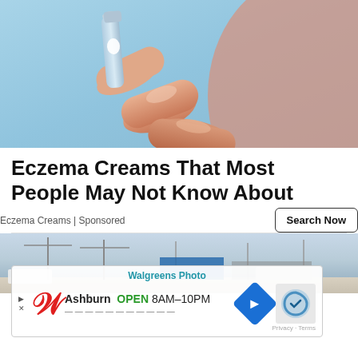[Figure (photo): Close-up photo of fingers squeezing cream from a small tube, against a light blue background]
Eczema Creams That Most People May Not Know About
Eczema Creams | Sponsored
[Figure (screenshot): Bottom portion showing a street-view scene with utility poles and a Walgreens Photo advertisement overlay showing 'Ashburn OPEN 8AM-10PM']